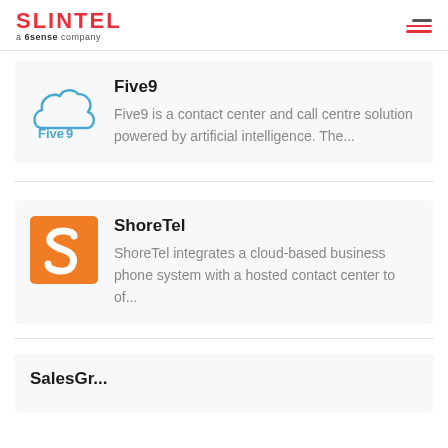SLINTEL a 6sense company
[Figure (logo): Five9 logo — cloud shape in blue outline with Five9 text]
Five9
Five9 is a contact center and call centre solution powered by artificial intelligence. The...
[Figure (logo): ShoreTel logo — orange square with white spiral S shape]
ShoreTel
ShoreTel integrates a cloud-based business phone system with a hosted contact center to of...
SalesGr...